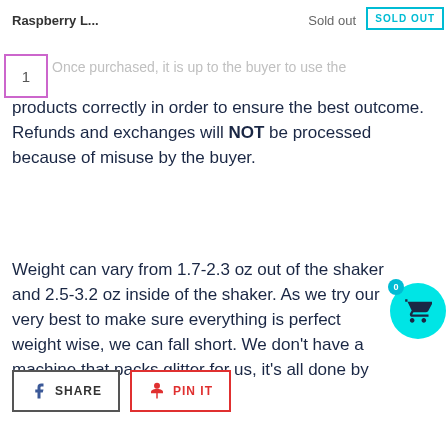Raspberry L... | Sold out | SOLD OUT
end. We recommend that you inspect your product BEFORE transferring to a permanent storage container.
Once purchased, it is up to the buyer to use the products correctly in order to ensure the best outcome. Refunds and exchanges will NOT be processed because of misuse by the buyer.
Weight can vary from 1.7-2.3 oz out of the shaker and 2.5-3.2 oz inside of the shaker. As we try our very best to make sure everything is perfect weight wise, we can fall short. We don't have a machine that packs glitter for us, it's all done by hand.
SHARE | PIN IT